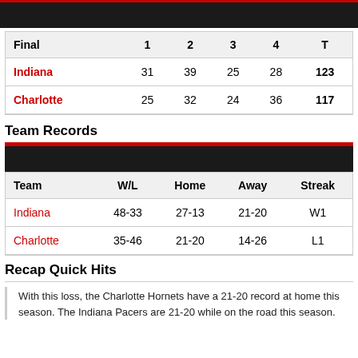| Final | 1 | 2 | 3 | 4 | T |
| --- | --- | --- | --- | --- | --- |
| Indiana | 31 | 39 | 25 | 28 | 123 |
| Charlotte | 25 | 32 | 24 | 36 | 117 |
Team Records
| Team | W/L | Home | Away | Streak |
| --- | --- | --- | --- | --- |
| Indiana | 48-33 | 27-13 | 21-20 | W1 |
| Charlotte | 35-46 | 21-20 | 14-26 | L1 |
Recap Quick Hits
With this loss, the Charlotte Hornets have a 21-20 record at home this season. The Indiana Pacers are 21-20 while on the road this season.